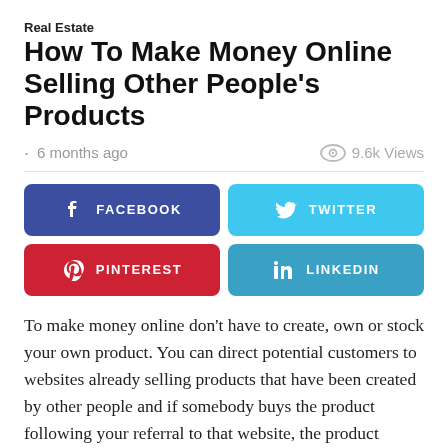Real Estate
How To Make Money Online Selling Other People's Products
• 6 months ago   👁 9.6k Views
[Figure (infographic): Social share buttons: Facebook, Twitter, Pinterest, LinkedIn]
To make money online don't have to create, own or stock your own product. You can direct potential customers to websites already selling products that have been created by other people and if somebody buys the product following your referral to that website, the product owner will pay